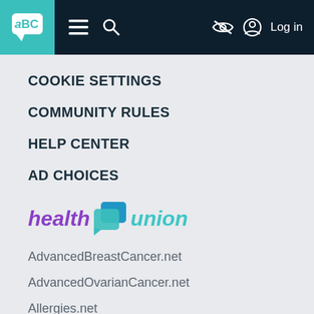aBC | ≡ 🔍 | Log in
COOKIE SETTINGS
COMMUNITY RULES
HELP CENTER
AD CHOICES
[Figure (logo): Health Union logo — 'health' in purple italic bold, a stylized blue-teal chat bubble icon, 'union' in teal italic bold]
AdvancedBreastCancer.net
AdvancedOvarianCancer.net
Allergies.net
AlzheimersDisease.net
AnkylosingSpondylitis.net
Asthma.net